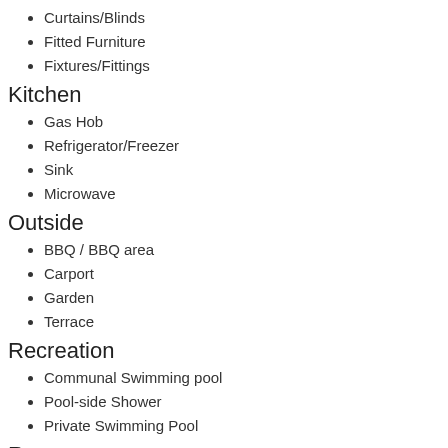Curtains/Blinds
Fitted Furniture
Fixtures/Fittings
Kitchen
Gas Hob
Refrigerator/Freezer
Sink
Microwave
Outside
BBQ / BBQ area
Carport
Garden
Terrace
Recreation
Communal Swimming pool
Pool-side Shower
Private Swimming Pool
Rooms